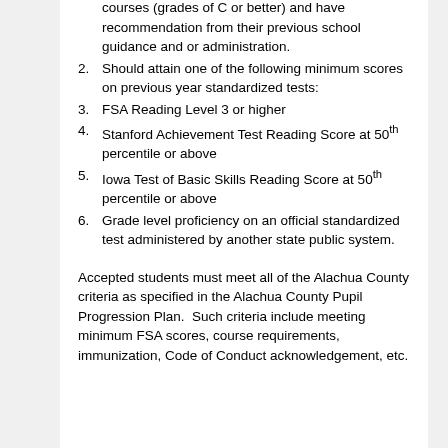courses (grades of C or better) and have recommendation from their previous school guidance and or administration.
2. Should attain one of the following minimum scores on previous year standardized tests:
3. FSA Reading Level 3 or higher
4. Stanford Achievement Test Reading Score at 50th percentile or above
5. Iowa Test of Basic Skills Reading Score at 50th percentile or above
6. Grade level proficiency on an official standardized test administered by another state public system.
Accepted students must meet all of the Alachua County criteria as specified in the Alachua County Pupil Progression Plan. Such criteria include meeting minimum FSA scores, course requirements, immunization, Code of Conduct acknowledgement, etc.